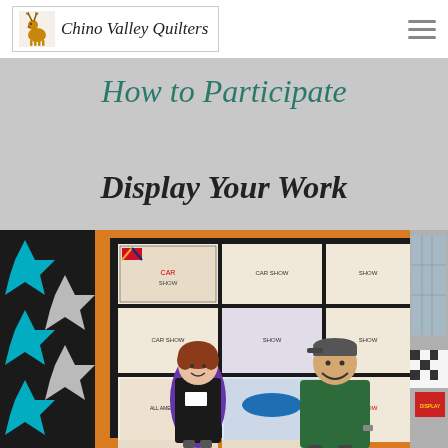Chino Valley Quilters
How to Participate
Display Your Work
[Figure (photo): Two people (a woman in a black apron and a man in a green shirt) standing in front of a large quilt made of car-themed panels with an orange border. A black and white/turquoise quilt is visible to the left. The setting appears to be a quilt show or exhibition hall.]